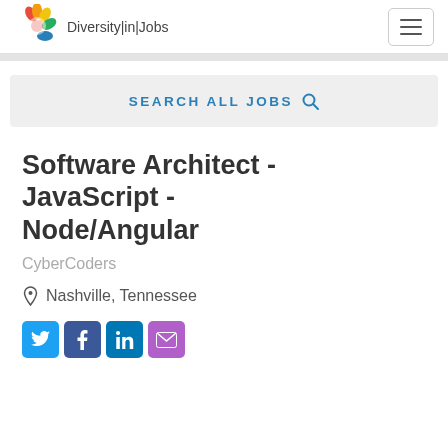Diversity|in|Jobs
SEARCH ALL JOBS
Software Architect - JavaScript - Node/Angular
CyberCoders
Nashville, Tennessee
[Figure (other): Social sharing icons: Twitter, Facebook, LinkedIn, Email]